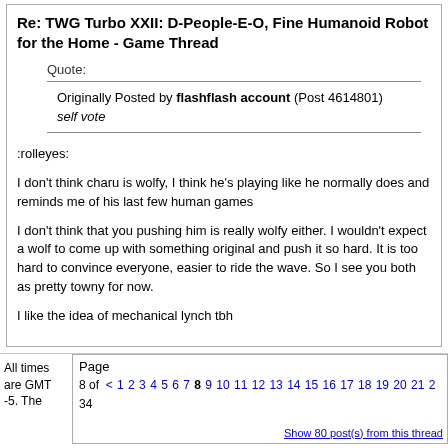Re: TWG Turbo XXII: D-People-E-O, Fine Humanoid Robot for the Home - Game Thread
Quote:
Originally Posted by flashflash account (Post 4614801)
self vote
:rolleyes:
I don't think charu is wolfy, I think he's playing like he normally does and reminds me of his last few human games
I don't think that you pushing him is really wolfy either. I wouldn't expect a wolf to come up with something original and push it so hard. It is too hard to convince everyone, easier to ride the wave. So I see you both as pretty towny for now.
I like the idea of mechanical lynch tbh
All times are GMT -5. The
Page 8 of 34    < 1 2 3 4 5 6 7 8 9 10 11 12 13 14 15 16 17 18 19 20 21 2
Show 80 post(s) from this thread